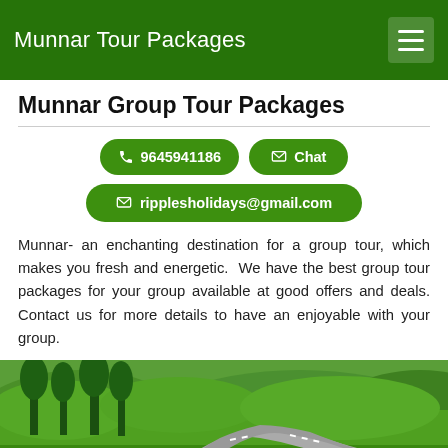Munnar Tour Packages
Munnar Group Tour Packages
📞 9645941186   ✉ Chat   ✉ ripplesholidays@gmail.com
Munnar- an enchanting destination for a group tour, which makes you fresh and energetic.  We have the best group tour packages for your group available at good offers and deals. Contact us for more details to have an enjoyable with your group.
[Figure (photo): Scenic landscape of Munnar showing winding road through green tea plantations with trees and a red tourist bus]